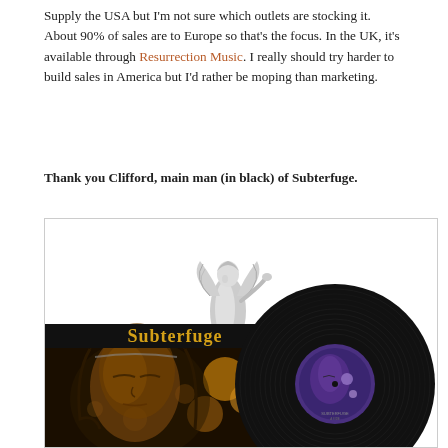Supply the USA but I'm not sure which outlets are stocking it. About 90% of sales are to Europe so that's the focus. In the UK, it's available through Resurrection Music. I really should try harder to build sales in America but I'd rather be moping than marketing.
Thank you Clifford, main man (in black) of Subterfuge.
[Figure (photo): Album artwork for 'Subterfuge' showing a black vinyl record with a purple label alongside the album cover featuring a Madonna-like face with golden bokeh lights and an angel statue at the top, on a black background with the title 'Subterfuge' in gold gothic lettering.]